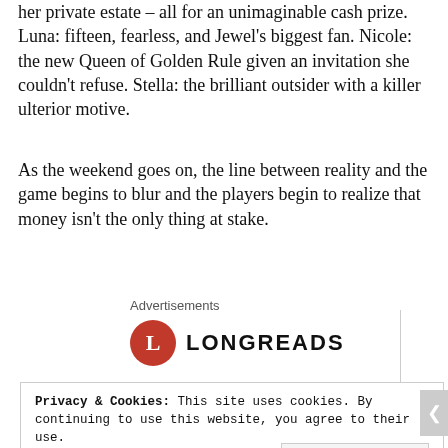her private estate – all for an unimaginable cash prize. Luna: fifteen, fearless, and Jewel's biggest fan. Nicole: the new Queen of Golden Rule given an invitation she couldn't refuse. Stella: the brilliant outsider with a killer ulterior motive.
As the weekend goes on, the line between reality and the game begins to blur and the players begin to realize that money isn't the only thing at stake.
Advertisements
[Figure (logo): Longreads logo: red circle with white L, followed by text LONGREADS in bold uppercase]
Privacy & Cookies: This site uses cookies. By continuing to use this website, you agree to their use.
To find out more, including how to control cookies, see here: Cookie Policy
Close and accept